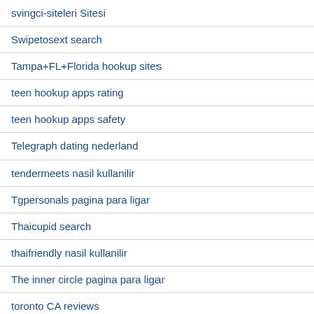svingci-siteleri Sitesi
Swipetosext search
Tampa+FL+Florida hookup sites
teen hookup apps rating
teen hookup apps safety
Telegraph dating nederland
tendermeets nasil kullanilir
Tgpersonals pagina para ligar
Thaicupid search
thaifriendly nasil kullanilir
The inner circle pagina para ligar
toronto CA reviews